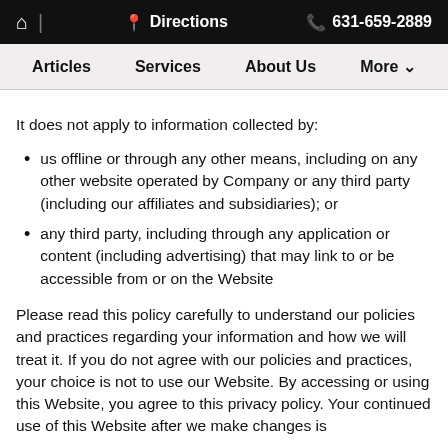🏠 | 📍 Directions  📞 631-659-2889
Articles   Services   About Us   More
It does not apply to information collected by:
us offline or through any other means, including on any other website operated by Company or any third party (including our affiliates and subsidiaries); or
any third party, including through any application or content (including advertising) that may link to or be accessible from or on the Website
Please read this policy carefully to understand our policies and practices regarding your information and how we will treat it. If you do not agree with our policies and practices, your choice is not to use our Website. By accessing or using this Website, you agree to this privacy policy. Your continued use of this Website after we make changes is deemed to be acceptance of those changes, so please